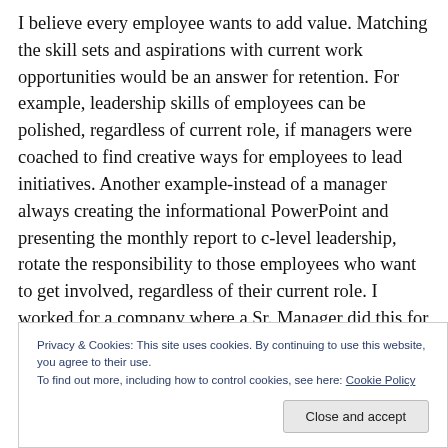I believe every employee wants to add value. Matching the skill sets and aspirations with current work opportunities would be an answer for retention. For example, leadership skills of employees can be polished, regardless of current role, if managers were coached to find creative ways for employees to lead initiatives. Another example-instead of a manager always creating the informational PowerPoint and presenting the monthly report to c-level leadership, rotate the responsibility to those employees who want to get involved, regardless of their current role. I worked for a company where a Sr. Manager did this for her group. I
Privacy & Cookies: This site uses cookies. By continuing to use this website, you agree to their use.
To find out more, including how to control cookies, see here: Cookie Policy